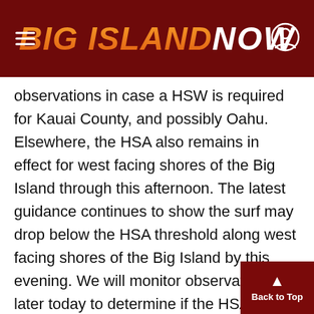Big Island Now
observations in case a HSW is required for Kauai County, and possibly Oahu. Elsewhere, the HSA also remains in effect for west facing shores of the Big Island through this afternoon. The latest guidance continues to show the surf may drop below the HSA threshold along west facing shores of the Big Island by this evening. We will monitor observations later today to determine if the HSA needs to be extended for the leeward Big Island into tonight. We expect the HSA will also be needed for elevated surf along most north and west facing shores of the smaller islands on Friday. Yet another large nor swell with HSA criteria surf is expected for mos